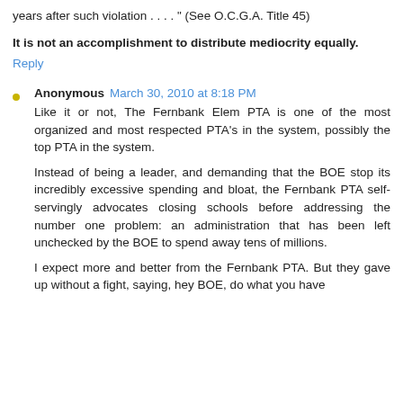years after such violation . . . . " (See O.C.G.A. Title 45)
It is not an accomplishment to distribute mediocrity equally.
Reply
Anonymous March 30, 2010 at 8:18 PM
Like it or not, The Fernbank Elem PTA is one of the most organized and most respected PTA's in the system, possibly the top PTA in the system.
Instead of being a leader, and demanding that the BOE stop its incredibly excessive spending and bloat, the Fernbank PTA self-servingly advocates closing schools before addressing the number one problem: an administration that has been left unchecked by the BOE to spend away tens of millions.
I expect more and better from the Fernbank PTA. But they gave up without a fight, saying, hey BOE, do what you have